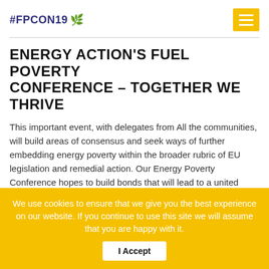#FPCON19 🌿
ENERGY ACTION'S FUEL POVERTY CONFERENCE – TOGETHER WE THRIVE
This important event, with delegates from All the communities, will build areas of consensus and seek ways of further embedding energy poverty within the broader rubric of EU legislation and remedial action. Our Energy Poverty Conference hopes to build bonds that will lead to a united approach to eliminating energy poverty across E...
We use cookies to ensure that we give you the best experience on our website. If you continue to use this site we will assume that you are happy with it.
I Accept